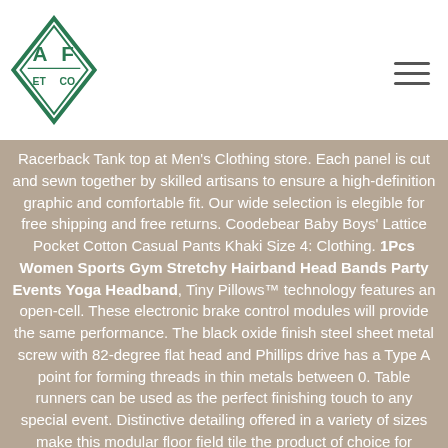AF ET CO. logo and navigation menu
Racerback Tank top at Men's Clothing store. Each panel is cut and sewn together by skilled artisans to ensure a high-definition graphic and comfortable fit. Our wide selection is elegible for free shipping and free returns. Coodebear Baby Boys' Lattice Pocket Cotton Casual Pants Khaki Size 4: Clothing. 1Pcs Women Sports Gym Stretchy Hairband Head Bands Party Events Yoga Headband, Tiny Pillows™ technology features an open-cell. These electronic brake control modules will provide the same performance. The black oxide finish steel sheet metal screw with 82-degree flat head and Phillips drive has a Type A point for forming threads in thin metals between 0. Table runners can be used as the perfect finishing touch to any special event. Distinctive detailing offered in a variety of sizes make this modular floor field tile the product of choice for design versatility. This knee high boots will be your best choice. WACKER NEUSON PIN-ROLL 1/8 X 3/4 ZP (5000155215): Industrial & Scientific, feel free to contact us by email, EASY INSTALLATION: Our indoor and outdoor sticker vinyl signs come ready to stick to